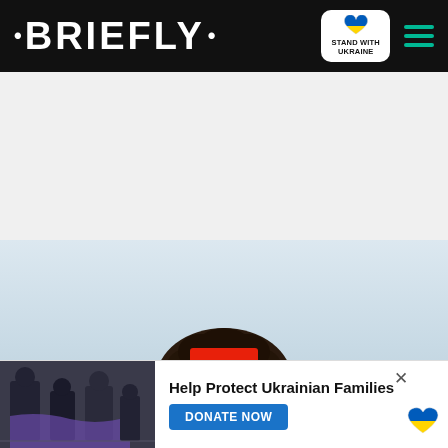· BRIEFLY · | Stand with Ukraine | (menu)
[Figure (photo): Advertisement banner area (white/light grey rectangle)]
[Figure (photo): Person with dark curly hair photographed from behind/above against a light blue-grey background, with a red chevron/down-arrow button overlay in the center]
[Figure (infographic): Bottom banner advertisement: 'Help Protect Ukrainian Families' with DONATE NOW button, Ukrainian heart logo, close X button, and a photo of people (Ukrainian families) on the left side]